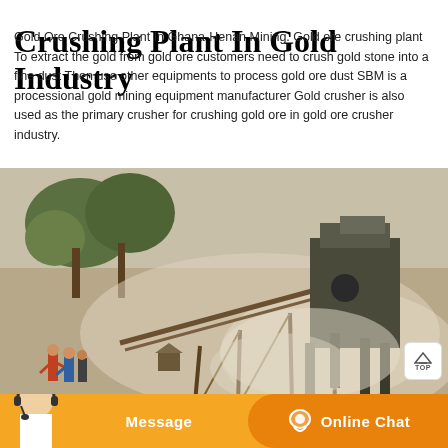Crushing Plant In Gold Industry
Gold Ore Crushing Plant In Ghana-Henan Mining. Gold ore crushing plant To extract the gold from gold ore customers need to crush gold stone into a fine dust Then use other equipments to process gold ore dust SBM is a processional gold mining equipment manufacturer Gold crusher is also used as the primary crusher for crushing gold ore in gold ore crusher industry.
[Figure (photo): Industrial gold ore crushing plant in Ghana, showing a conveyor belt, metallic crushing equipment structure, dust clouds from the crushing operation, workers visible to the left, and trees in the background.]